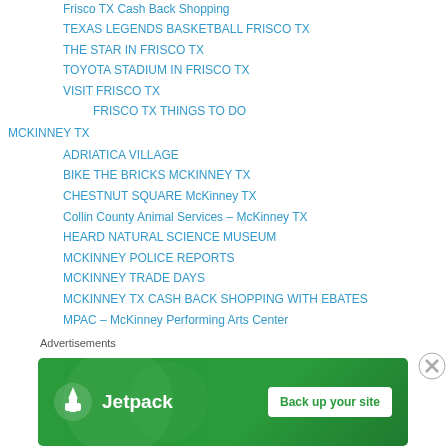Frisco TX Cash Back Shopping
TEXAS LEGENDS BASKETBALL FRISCO TX
THE STAR IN FRISCO TX
TOYOTA STADIUM IN FRISCO TX
VISIT FRISCO TX
FRISCO TX THINGS TO DO
MCKINNEY TX
ADRIATICA VILLAGE
BIKE THE BRICKS MCKINNEY TX
CHESTNUT SQUARE McKinney TX
Collin County Animal Services – McKinney TX
HEARD NATURAL SCIENCE MUSEUM
MCKINNEY POLICE REPORTS
MCKINNEY TRADE DAYS
MCKINNEY TX CASH BACK SHOPPING WITH EBATES
MPAC – McKinney Performing Arts Center
PECAN GROVE CEMETERY McKinney TX
Advertisements
[Figure (other): Jetpack advertisement banner with green background showing Jetpack logo and 'Back up your site' button]